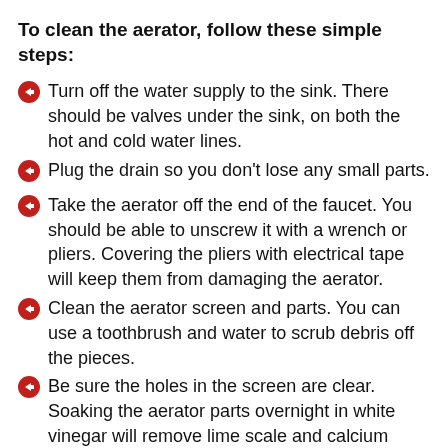To clean the aerator, follow these simple steps:
Turn off the water supply to the sink. There should be valves under the sink, on both the hot and cold water lines.
Plug the drain so you don’t lose any small parts.
Take the aerator off the end of the faucet. You should be able to unscrew it with a wrench or pliers. Covering the pliers with electrical tape will keep them from damaging the aerator.
Clean the aerator screen and parts. You can use a toothbrush and water to scrub debris off the pieces.
Be sure the holes in the screen are clear. Soaking the aerator parts overnight in white vinegar will remove lime scale and calcium build-up from hard water. Take the aerator apart. There are several parts inside the aerator. As you take them out, pay attention to which order and how they fit. That will